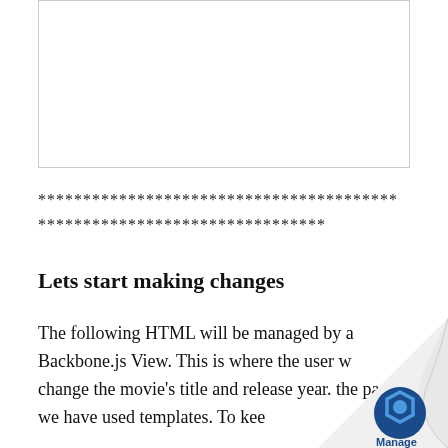[Figure (screenshot): Empty white rectangular code/text box with a light grey border]
****************************************
********************************
Lets start making changes
The following HTML will be managed by a Backbone.js View. This is where the user w change the movie's title and release year. the past we have used templates. To kee riple bees recipient static HTML